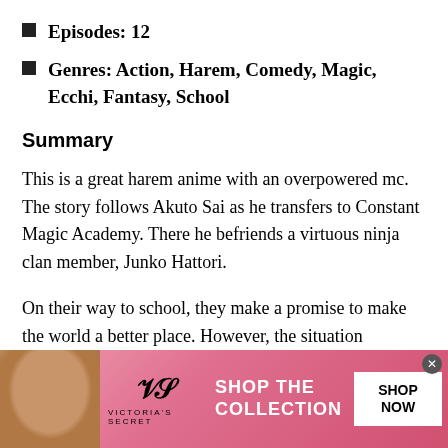Episodes: 12
Genres: Action, Harem, Comedy, Magic, Ecchi, Fantasy, School
Summary
This is a great harem anime with an overpowered mc. The story follows Akuto Sai as he transfers to Constant Magic Academy. There he befriends a virtuous ninja clan member, Junko Hattori.
On their way to school, they make a promise to make the world a better place. However, the situation suddenly takes a turn for the worse upon his arrival—it is prophesied That Akuto will become the Demon King!
[Figure (photo): Victoria's Secret advertisement banner with model, VS logo, 'SHOP THE COLLECTION' text, and 'SHOP NOW' button]